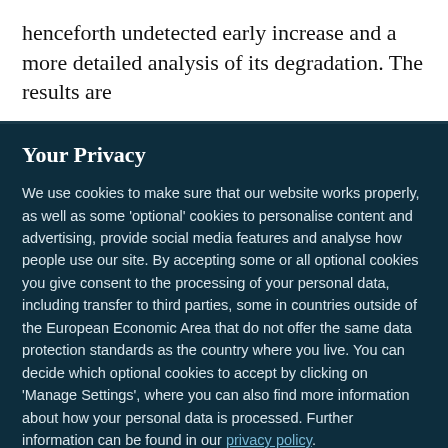henceforth undetected early increase and a more detailed analysis of its degradation. The results are
Your Privacy
We use cookies to make sure that our website works properly, as well as some 'optional' cookies to personalise content and advertising, provide social media features and analyse how people use our site. By accepting some or all optional cookies you give consent to the processing of your personal data, including transfer to third parties, some in countries outside of the European Economic Area that do not offer the same data protection standards as the country where you live. You can decide which optional cookies to accept by clicking on 'Manage Settings', where you can also find more information about how your personal data is processed. Further information can be found in our privacy policy.
Accept all cookies
Manage preferences